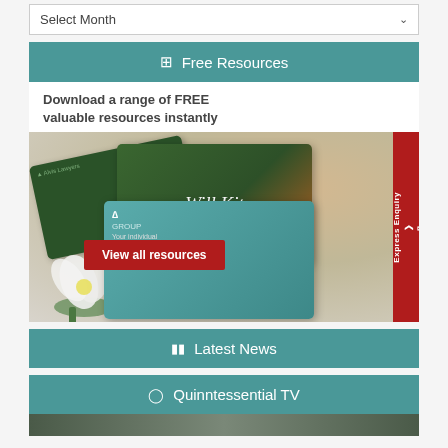[Figure (screenshot): Select Month dropdown bar at top]
Free Resources
Download a range of FREE valuable resources instantly
[Figure (photo): Resource kit cards showing Will Kit and Tax Record Kit with flower decoration, and a View all resources red button. Express Enquiry tab on right side.]
Latest News
Quinntessential TV